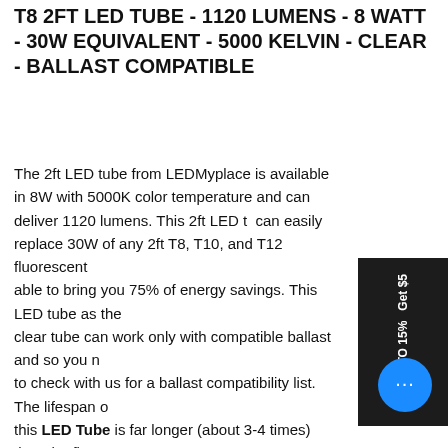T8 2FT LED TUBE - 1120 LUMENS - 8 WATT - 30W EQUIVALENT - 5000 KELVIN - CLEAR - BALLAST COMPATIBLE
The 2ft LED tube from LEDMyplace is available in 8W with 5000K color temperature and can deliver 1120 lumens. This 2ft LED tube can easily replace 30W of any 2ft T8, T10, and T12 fluorescent able to bring you 75% of energy savings. This LED tube as the clear tube can work only with compatible ballast and so you need to check with us for a ballast compatibility list. The lifespan of this LED Tube is far longer (about 3-4 times) than the fluorescent tube and hence a preferred source of lighting in many applications. This 2ft LED tube has the external coating of a polycarbide for adequate durability. It has an internal heat sink made of aluminum for excellent thermal management and is easy to operate and maintain. Starts instantly and is fast to install. As UL & DLC Premium rated product, this product also makes you eligible for rebates and 5 years of the warranty period.